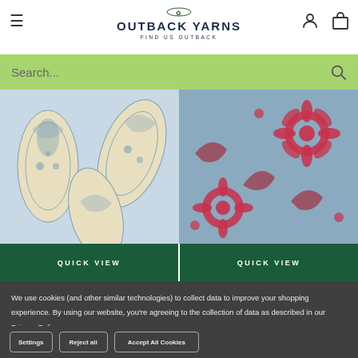[Figure (screenshot): Outback Yarns website header with hamburger menu, logo, user icon, and shopping bag icon]
[Figure (screenshot): Green search bar with placeholder text 'Search...' and magnifying glass icon]
[Figure (photo): Blue and cream paisley fabric pattern product image]
[Figure (photo): Blue and red floral fabric pattern product image]
QUICK VIEW
QUICK VIEW
We use cookies (and other similar technologies) to collect data to improve your shopping experience. By using our website, you're agreeing to the collection of data as described in our Privacy Policy.
Settings
Reject all
Accept All Cookies